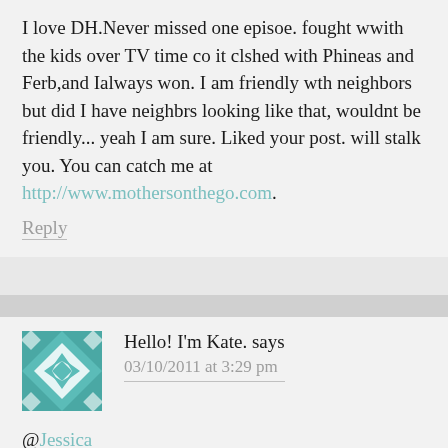I love DH.Never missed one episoe. fought wwith the kids over TV time co it clshed with Phineas and Ferb,and Ialways won. I am friendly wth neighbors but did I have neighbrs looking like that, wouldnt be friendly... yeah I am sure. Liked your post. will stalk you. You can catch me at http://www.mothersonthego.com.
Reply
Hello! I'm Kate. says
03/10/2011 at 3:29 pm
@Jessica